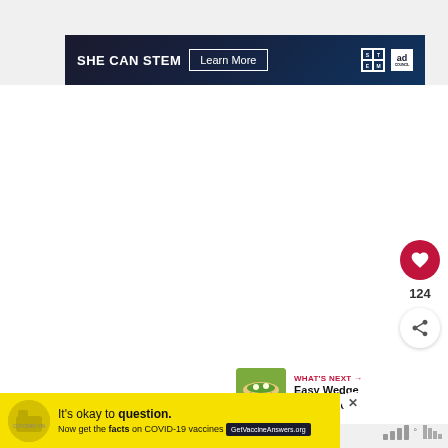[Figure (screenshot): SHE CAN STEM advertisement banner with dark navy background, white bold text 'SHE CAN STEM', a 'Learn More' button with white border, STEM logo and Ad Council logo on the right.]
[Figure (infographic): Heart/like button (red circle with white heart icon) with count 124, and a share button (white circle with share icon).]
[Figure (screenshot): What's Next panel showing a thumbnail of a wedge salad and the text 'WHAT'S NEXT → Easy Wedge Salad Recipe']
[Figure (screenshot): Yellow advertisement banner: 'It's okay to question. Now get the facts on COVID-19 vaccines' with GetVaccineAnswers.org button and a close X button.]